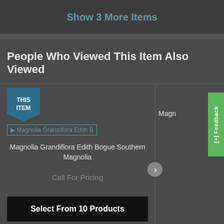Show 3 More Items
People Who Viewed This Item Also Viewed
[Figure (screenshot): Product carousel showing 'THIS ITEM' badge on left, product image placeholder for Magnolia Grandiflora Edith B, product title 'Magnolia Grandiflora Edith Bogue Southern Magnolia', price 'Call For Pricing', and a 'Select From 10 Products' button. A partial second product is visible on the right. A green Feedback tab is on the far right edge.]
Magnolia Grandiflora Edith Bogue Southern Magnolia
Call For Pricing
Select From 10 Products
Magn
Co